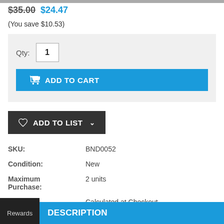$35.00  $24.47
(You save $10.53)
Qty: 1
ADD TO CART
ADD TO LIST
SKU:   BND0052
Condition:   New
Maximum Purchase:   2 units
Shipping:   Calculated at Checkout
Current Stock: 2
DESCRIPTION